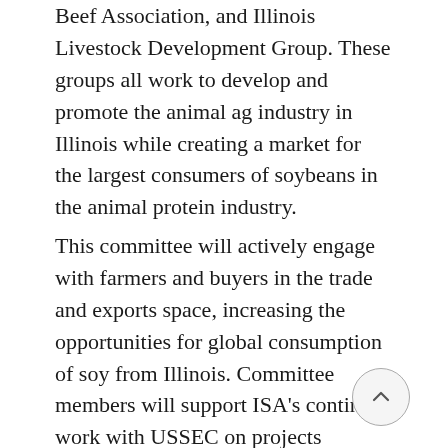Beef Association, and Illinois Livestock Development Group. These groups all work to develop and promote the animal ag industry in Illinois while creating a market for the largest consumers of soybeans in the animal protein industry.
This committee will actively engage with farmers and buyers in the trade and exports space, increasing the opportunities for global consumption of soy from Illinois. Committee members will support ISA's continued work with USSEC on projects surrounding Egypt, the Soy Excellence Center goal of expansion, and soy protein promotion initiatives for human consumption Indonesia.